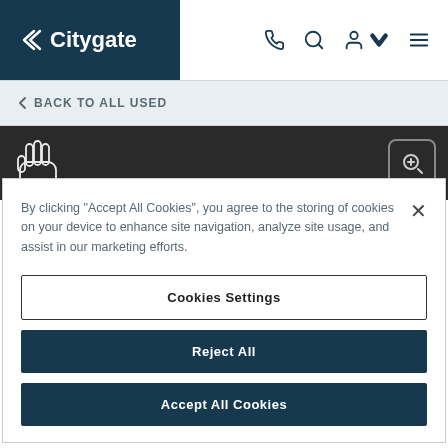[Figure (screenshot): Citygate website header with logo on dark teal background on left, and phone, search, user account, and menu icons on white right side]
< BACK TO ALL USED
[Figure (screenshot): Dark navigation bar with a pointing hand cursor icon on the left and a zoom/search button on the right]
By clicking "Accept All Cookies", you agree to the storing of cookies on your device to enhance site navigation, analyze site usage, and assist in our marketing efforts.
Cookies Settings
Reject All
Accept All Cookies